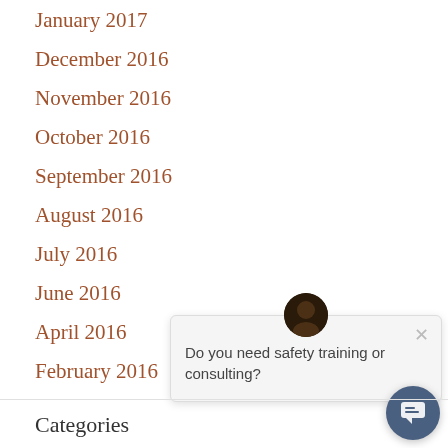January 2017
December 2016
November 2016
October 2016
September 2016
August 2016
July 2016
June 2016
April 2016
February 2016
[Figure (screenshot): Chat popup widget with avatar icon, close button, and text 'Do you need safety training or consulting?' along with a circular chat button in the bottom right corner]
Categories